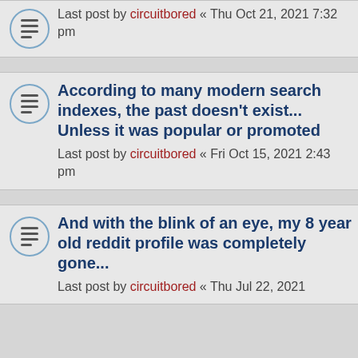Exceptionalism — Last post by circuitbored « Thu Oct 21, 2021 7:32 pm
According to many modern search indexes, the past doesn't exist... Unless it was popular or promoted — Last post by circuitbored « Fri Oct 15, 2021 2:43 pm
And with the blink of an eye, my 8 year old reddit profile was completely gone... — Last post by circuitbored « Thu Jul 22, 2021